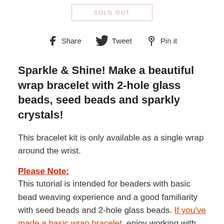SOLD OUT
Share  Tweet  Pin it
Sparkle & Shine! Make a beautiful wrap bracelet with 2-hole glass beads, seed beads and sparkly crystals!
This bracelet kit is only available as a single wrap around the wrist.
Please Note:
This tutorial is intended for beaders with basic bead weaving experience and a good familiarity with seed beads and 2-hole glass beads. If you've made a basic wrap bracelet, enjoy working with tiny beads and you're up for a challenge, this is the kit for you!